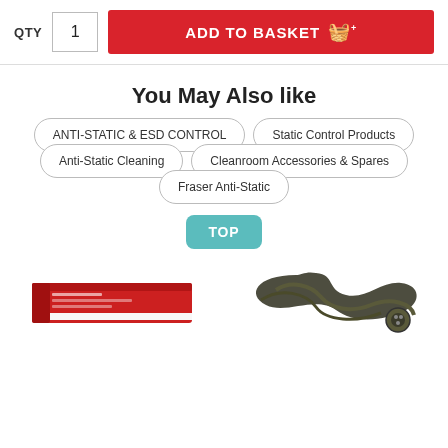QTY  1  ADD TO BASKET
You May Also like
ANTI-STATIC & ESD CONTROL
Static Control Products
Anti-Static Cleaning
Cleanroom Accessories & Spares
Fraser Anti-Static
TOP
[Figure (photo): Product thumbnails - red box product and cable product at bottom of page]